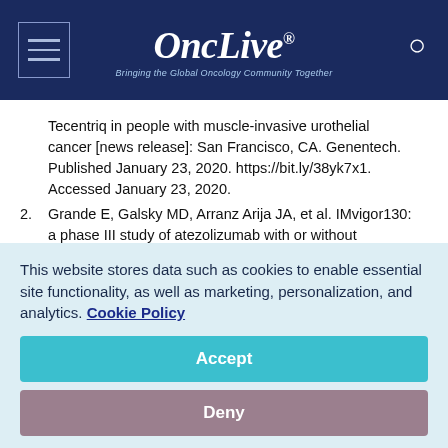OncLive® — Bringing the Global Oncology Community Together
Tecentriq in people with muscle-invasive urothelial cancer [news release]: San Francisco, CA. Genentech. Published January 23, 2020. https://bit.ly/38yk7x1. Accessed January 23, 2020.
2. Grande E, Galsky MD, Arranz Arija JA, et al. IMvigor130: a phase III study of atezolizumab with or without platinum-based chemotherapy in previously untreated metastatic urothelial carcinoma. Ann Oncol. 2019;30(suppl 5):v851-v934. doi:
This website stores data such as cookies to enable essential site functionality, as well as marketing, personalization, and analytics. Cookie Policy
Accept
Deny